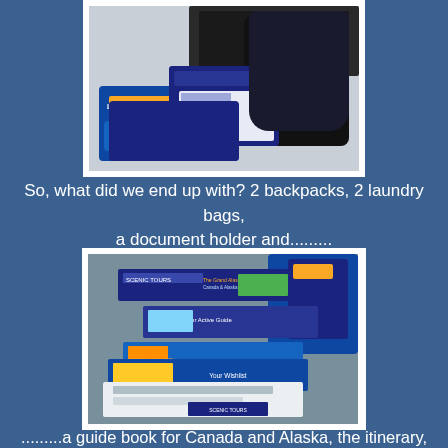[Figure (photo): Photo of 2 backpacks, 2 laundry bags, a document holder and travel accessories laid out on a counter]
So, what did we end up with? 2 backpacks, 2 laundry bags, a document holder and.........
[Figure (photo): Photo of travel brochures, guide books, itinerary documents and Scenic Tours materials spread on a surface]
........a guide book for Canada and Alaska, the itinerary, the